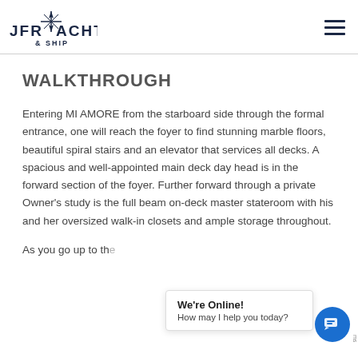JFR YACHT & SHIP
WALKTHROUGH
Entering MI AMORE from the starboard side through the formal entrance, one will reach the foyer to find stunning marble floors, beautiful spiral stairs and an elevator that services all decks. A spacious and well-appointed main deck day head is in the forward section of the foyer. Further forward through a private Owner’s study is the full beam on-deck master stateroom with his and her oversized walk-in closets and ample storage throughout.
As you go up to th... o elevator you will find a spacious and comfortable
[Figure (other): Live chat popup with message 'We're Online! How may I help you today?' and a blue chat icon button]